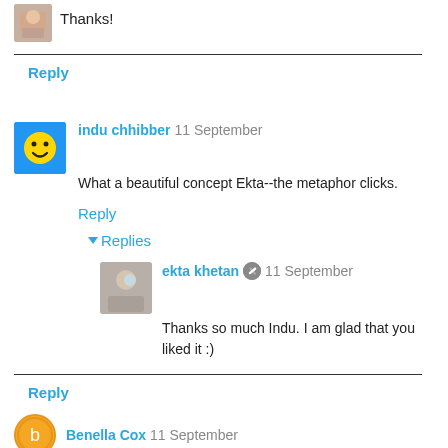Thanks!
Reply
indu chhibber  11 September
What a beautiful concept Ekta--the metaphor clicks.
Reply
Replies
ekta khetan  11 September
Thanks so much Indu. I am glad that you liked it :)
Reply
Benella Cox  11 September